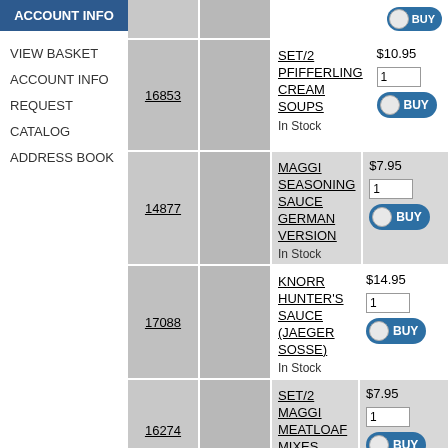ACCOUNT INFO
VIEW BASKET
ACCOUNT INFO
REQUEST CATALOG
ADDRESS BOOK
| ID | Image | Description | Price/Action |
| --- | --- | --- | --- |
| 16853 |  | SET/2 PFIFFERLING CREAM SOUPS
In Stock | $10.95 |
| 14877 |  | MAGGI SEASONING SAUCE GERMAN VERSION
In Stock | $7.95 |
| 17088 |  | KNORR HUNTER'S SAUCE (JAEGER SOSSE)
In Stock | $14.95 |
| 16274 |  | SET/2 MAGGI MEATLOAF MIXES
In Stock | $7.95 |